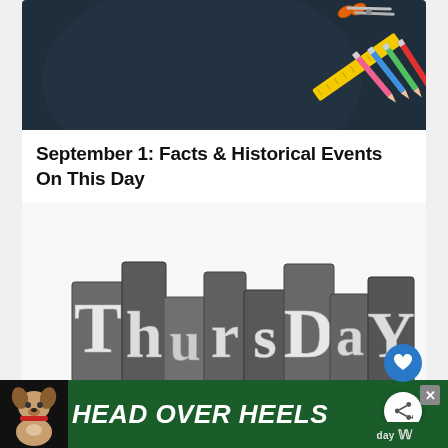[Figure (photo): Dark chalkboard background with orange scissors, colored pencils (pink, blue, green, red), and a yellow ruler arranged in top-right corner — school supplies flat lay]
September 1: Facts & Historical Events On This Day
[Figure (photo): Metal letterpress type blocks arranged to spell 'ThursDaY' in mixed serif typefaces on a white background]
[Figure (photo): Advertisement banner: dog photo on left, 'HEAD OVER HEELS' text in white italic bold on dark green background, close button top right]